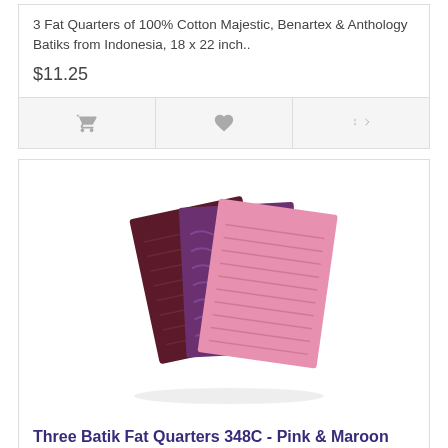3 Fat Quarters of 100% Cotton Majestic, Benartex & Anthology Batiks from Indonesia, 18 x 22 inch..
$11.25
[Figure (screenshot): Product card action bar with three icon buttons: shopping cart, heart (wishlist), and compare arrows icons]
[Figure (photo): Three batik fat quarter fabric pieces fanned out - dark maroon/purple, medium purple, and pink batik patterned fabrics]
Three Batik Fat Quarters 348C - Pink & Maroon Tones
3 Fat Quarters of 100% Cotton Majestic, Benartex & Anthology